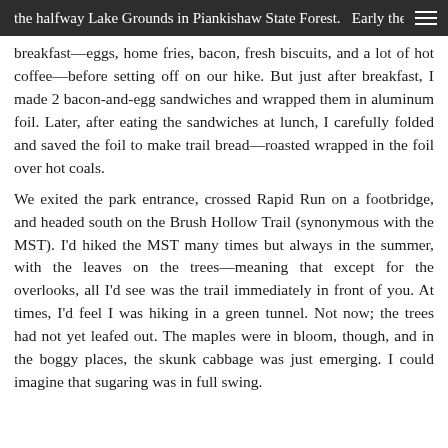the halfway Lake Grounds in Piankishaw State Forest. Early the second morning, we enjoyed a full hike
breakfast—eggs, home fries, bacon, fresh biscuits, and a lot of hot coffee—before setting off on our hike. But just after breakfast, I made 2 bacon-and-egg sandwiches and wrapped them in aluminum foil. Later, after eating the sandwiches at lunch, I carefully folded and saved the foil to make trail bread—roasted wrapped in the foil over hot coals.
We exited the park entrance, crossed Rapid Run on a footbridge, and headed south on the Brush Hollow Trail (synonymous with the MST). I'd hiked the MST many times but always in the summer, with the leaves on the trees—meaning that except for the overlooks, all I'd see was the trail immediately in front of you. At times, I'd feel I was hiking in a green tunnel. Not now; the trees had not yet leafed out. The maples were in bloom, though, and in the boggy places, the skunk cabbage was just emerging. I could imagine that sugaring was in full swing.